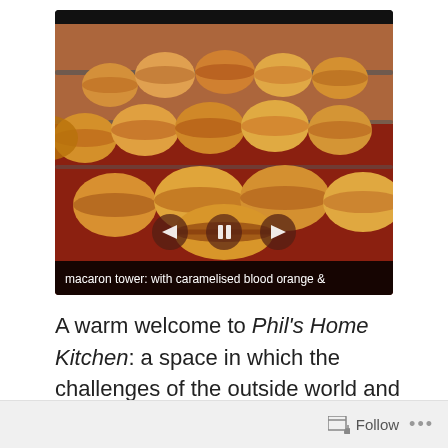[Figure (photo): Slideshow widget showing a macaron tower photo with macarons stacked on wire tiered display, warm orange/red tones, with navigation controls (back, pause, forward) overlaid and a black caption bar reading 'macaron tower: with caramelised blood orange &']
macaron tower: with caramelised blood orange &
A warm welcome to Phil's Home Kitchen: a space in which the challenges of the outside world and any feelings of food guilt are left firmly at the kitchen door!
Follow ...